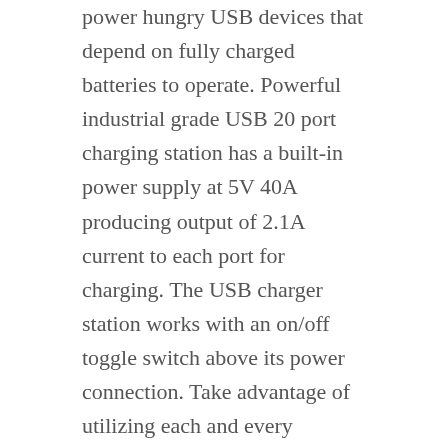power hungry USB devices that depend on fully charged batteries to operate. Powerful industrial grade USB 20 port charging station has a built-in power supply at 5V 40A producing output of 2.1A current to each port for charging. The USB charger station works with an on/off toggle switch above its power connection. Take advantage of utilizing each and every charging port, connect all 16 ports without losing power to any USB device that is simultaneously connected.
China USB Chargers
The most eye catching is probably the 4.8 amps of dual power, which the device routes to each port as 2.4 amps per port. That is going to supply enough power to effectively charge up even tough, high amp batteries